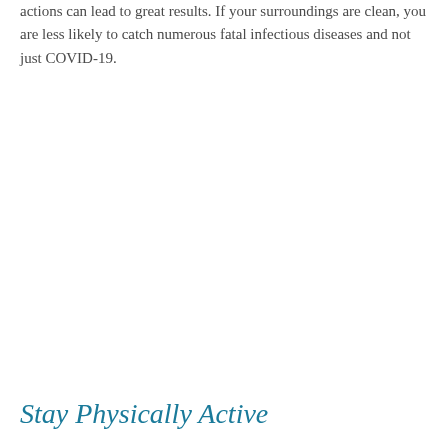actions can lead to great results. If your surroundings are clean, you are less likely to catch numerous fatal infectious diseases and not just COVID-19.
Stay Physically Active